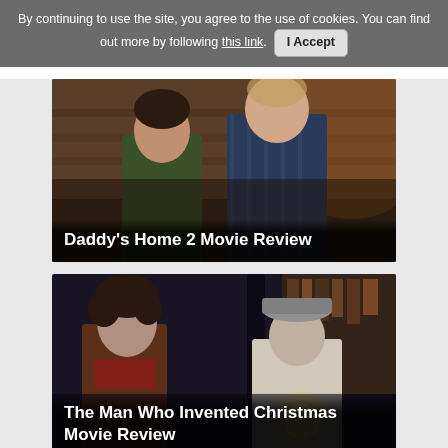By continuing to use the site, you agree to the use of cookies. You can find out more by following this link. I Accept
[Figure (photo): Two men standing in what appears to be a log cabin interior. One man in a green shirt, another in a plaid jacket. Movie still from Daddy's Home 2.]
Daddy's Home 2 Movie Review
[Figure (photo): Two people standing in a dim setting, one older man with a grey hat holding a light. Movie still from The Man Who Invented Christmas.]
The Man Who Invented Christmas Movie Review